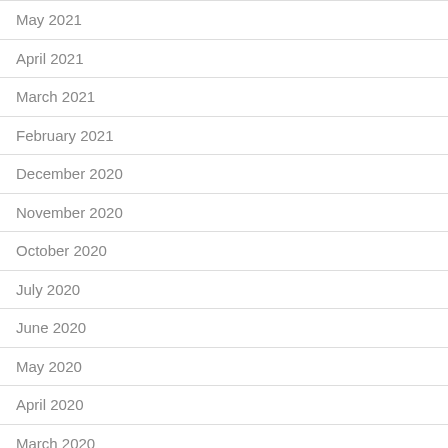May 2021
April 2021
March 2021
February 2021
December 2020
November 2020
October 2020
July 2020
June 2020
May 2020
April 2020
March 2020
February 2020